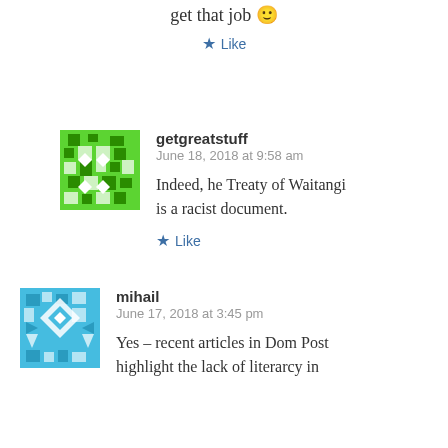get that job 🙂
★ Like
getgreatstuff
June 18, 2018 at 9:58 am
Indeed, he Treaty of Waitangi is a racist document.
★ Like
mihail
June 17, 2018 at 3:45 pm
Yes – recent articles in Dom Post highlight the lack of literarcy in